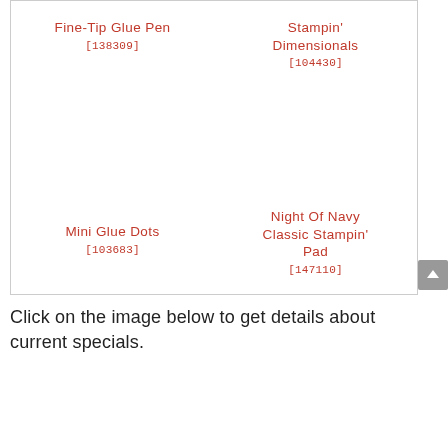Fine-Tip Glue Pen [138309]
Stampin' Dimensionals [104430]
Mini Glue Dots [103683]
Night Of Navy Classic Stampin' Pad [147110]
Click on the image below to get details about current specials.